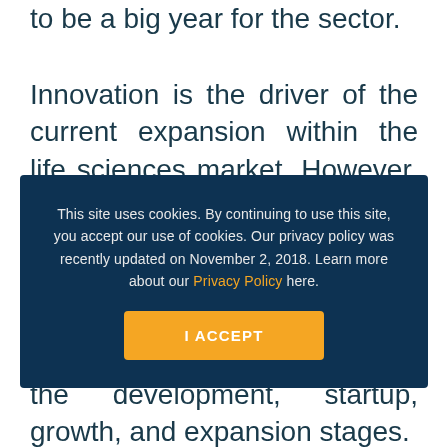to be a big year for the sector. Innovation is the driver of the current expansion within the life sciences market. However, the key to maximizing this ROI,
[Figure (screenshot): Cookie consent overlay with dark navy background. Text reads: 'This site uses cookies. By continuing to use this site, you accept our use of cookies. Our privacy policy was recently updated on November 2, 2018. Learn more about our Privacy Policy here.' An orange 'I ACCEPT' button is centered below the text.]
advantage and improve business outcomes throughout the development, startup, growth, and expansion stages.